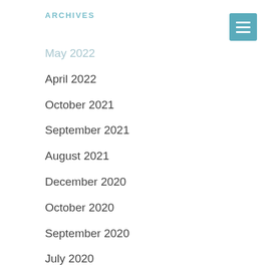ARCHIVES
May 2022
April 2022
October 2021
September 2021
August 2021
December 2020
October 2020
September 2020
July 2020
June 2020